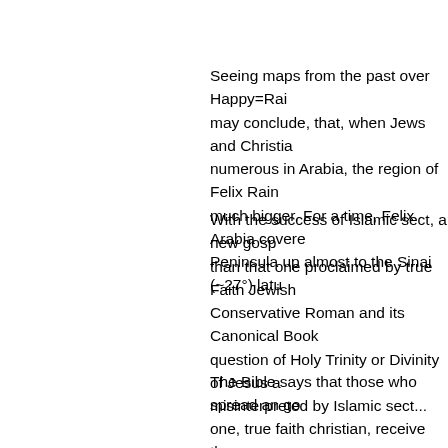Seeing maps from the past over Happy=Rainy may conclude, that, when Jews and Christians were numerous in Arabia, the region of Felix Rainy was much bigger. For a time, Felix Arabia covered the Peninsula up almost to the Sinai (~27°) latitu...
With the success of Islamic sect, a new gosp... than that one proclaimed by true Faith Jewish Conservative Roman and its Canonical Book... question of Holy Trinity or Divinity of Jesus a... misinterpreted by Islamic sect...
The Bible says that those who spread an go... one, true faith christian, receive the curse... success, with their formula's of tolerance of ... advantage for Islam, massive conversions a... continuous Muslim control, but most of the a... desert / arid ones, specially when there's alm... Jews there neither in the neighborhood...